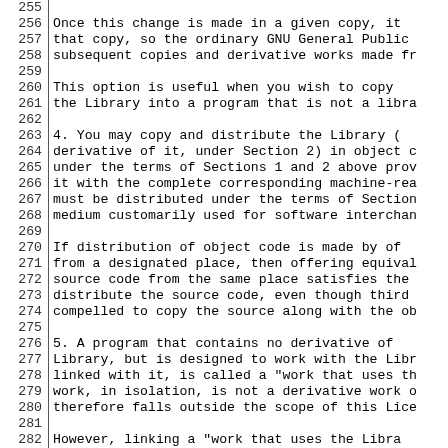255
256  Once this change is made in a given copy, it
257 that copy, so the ordinary GNU General Public
258 subsequent copies and derivative works made fr
259
260   This option is useful when you wish to copy
261 the Library into a program that is not a libra
262
263   4. You may copy and distribute the Library (
264 derivative of it, under Section 2) in object c
265 under the terms of Sections 1 and 2 above prov
266 it with the complete corresponding machine-rea
267 must be distributed under the terms of Section
268 medium customarily used for software interchan
269
270   If distribution of object code is made by of
271 from a designated place, then offering equival
272 source code from the same place satisfies the
273 distribute the source code, even though third
274 compelled to copy the source along with the ob
275
276   5. A program that contains no derivative of
277 Library, but is designed to work with the Libr
278 linked with it, is called a "work that uses th
279 work, in isolation, is not a derivative work o
280 therefore falls outside the scope of this Lice
281
282   However, linking a "work that uses the Libra
283 creates an executable that is a derivative of
284 contains portions of the Library), rather tha